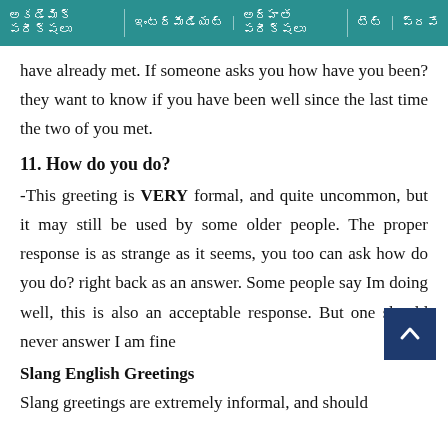అకడెమిక్ పరీక్షలు | ఇంటర్మీడియట్ | అర్హత పరీక్షలు | టెట్ | ప్రవే
have already met. If someone asks you how have you been? they want to know if you have been well since the last time the two of you met.
11. How do you do?
-This greeting is VERY formal, and quite uncommon, but it may still be used by some older people. The proper response is as strange as it seems, you too can ask how do you do? right back as an answer. Some people say Im doing well, this is also an acceptable response. But one should never answer I am fine
Slang English Greetings
Slang greetings are extremely informal, and should